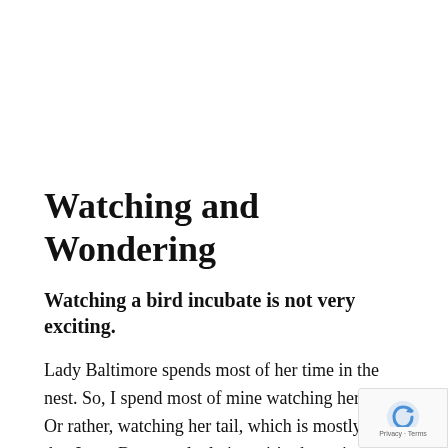Watching and Wondering
Watching a bird incubate is not very exciting.
Lady Baltimore spends most of her time in the nest. So, I spend most of mine watching her sit. Or rather, watching her tail, which is mostly all that I see. By my calculations, it’s about time for her babies to start hatching, one per day for four or five days. a cowbird, too, if the interloper I caught scoping the nest managed to lay an egg inside.